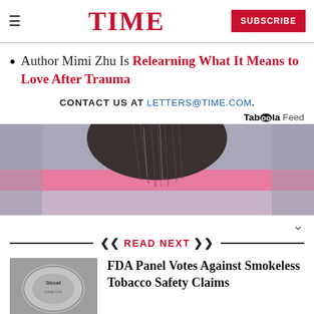TIME — SUBSCRIBE
Author Mimi Zhu Is Relearning What It Means to Love After Trauma
CONTACT US AT LETTERS@TIME.COM.
Taboola Feed
[Figure (photo): Top of a person's head with dark hair against a pink background]
READ NEXT
[Figure (photo): Thumbnail image of smokeless tobacco tin]
FDA Panel Votes Against Smokeless Tobacco Safety Claims